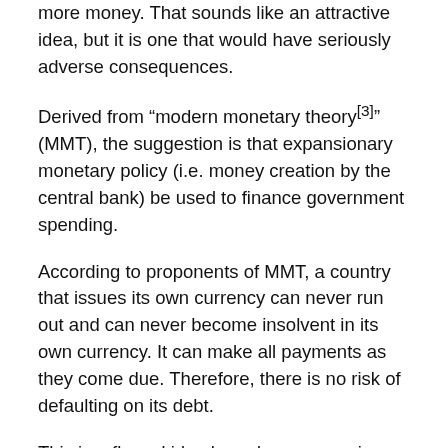more money. That sounds like an attractive idea, but it is one that would have seriously adverse consequences.
Derived from “modern monetary theory[3]” (MMT), the suggestion is that expansionary monetary policy (i.e. money creation by the central bank) be used to finance government spending.
According to proponents of MMT, a country that issues its own currency can never run out and can never become insolvent in its own currency. It can make all payments as they come due. Therefore, there is no risk of defaulting on its debt.
This is a flawed idea based on economic misconceptions. It has been opposed by economists,